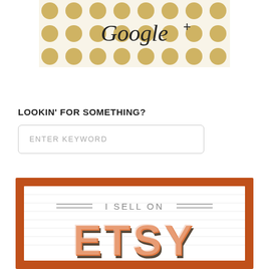[Figure (logo): Google+ branded banner with gold polka dot pattern background and cursive 'Google+' text in black]
LOOKIN' FOR SOMETHING?
ENTER KEYWORD
[Figure (logo): Etsy seller badge with orange border, white background with horizontal lines, text 'I SELL ON' with double rule decorations, and large retro-style 'ETSY' lettering in orange and brown]